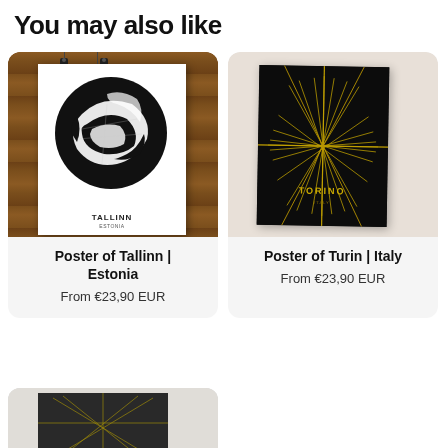You may also like
[Figure (photo): Poster of Tallinn Estonia city map on wood background]
Poster of Tallinn | Estonia
From €23,90 EUR
[Figure (photo): Poster of Turin Italy gold city map on black background leaning against wall]
Poster of Turin | Italy
From €23,90 EUR
[Figure (photo): Partial view of another map poster product at bottom of page]